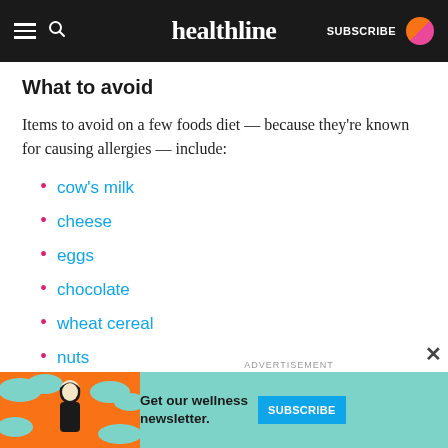healthline — SUBSCRIBE
What to avoid
Items to avoid on a few foods diet — because they're known for causing allergies — include:
cow's milk
cheese
eggs
chocolate
wheat cereal
nuts
citrus fruits